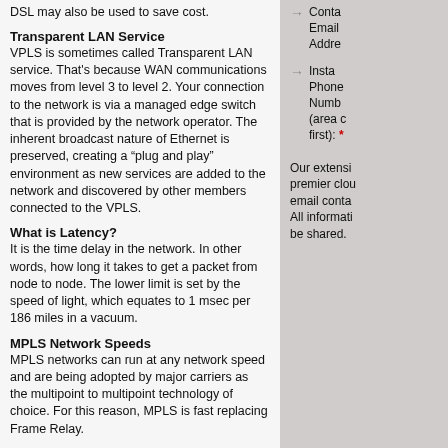DSL may also be used to save cost.
Transparent LAN Service
VPLS is sometimes called Transparent LAN service. That's because WAN communications moves from level 3 to level 2. Your connection to the network is via a managed edge switch that is provided by the network operator. The inherent broadcast nature of Ethernet is preserved, creating a “plug and play” environment as new services are added to the network and discovered by other members connected to the VPLS.
What is Latency?
It is the time delay in the network. In other words, how long it takes to get a packet from node to node. The lower limit is set by the speed of light, which equates to 1 msec per 186 miles in a vacuum.
MPLS Network Speeds
MPLS networks can run at any network speed and are being adopted by major carriers as the multipoint to multipoint technology of choice. For this reason, MPLS is fast replacing Frame Relay.
Contact Email Address
Installation Phone Number (area code first): *
Our extensive premier cloud email contact All information be shared.